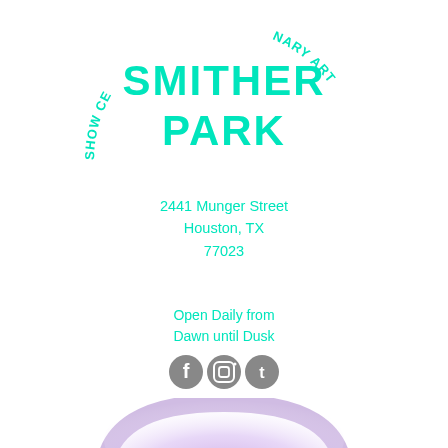[Figure (logo): Smither Park logo with circular text reading 'ORANGE ART SHOW CENTENARY' and large text 'SMITHER PARK' in teal dotted/mosaic style letters]
2441 Munger Street
Houston, TX
77023
Open Daily from
Dawn until Dusk
[Figure (illustration): Social media icons: Facebook, Instagram, Twitter in gray]
[Figure (photo): Bottom portion of a purple/lavender illuminated arch or dome structure at Smither Park]